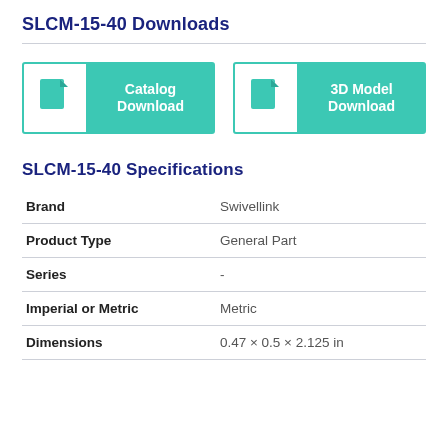SLCM-15-40 Downloads
[Figure (infographic): Two download buttons side by side: 'Catalog Download' (PDF icon) and '3D Model Download' (STEP icon), both teal/green colored.]
SLCM-15-40 Specifications
|  |  |
| --- | --- |
| Brand | Swivellink |
| Product Type | General Part |
| Series | - |
| Imperial or Metric | Metric |
| Dimensions | 0.47 × 0.5 × 2.125 in |